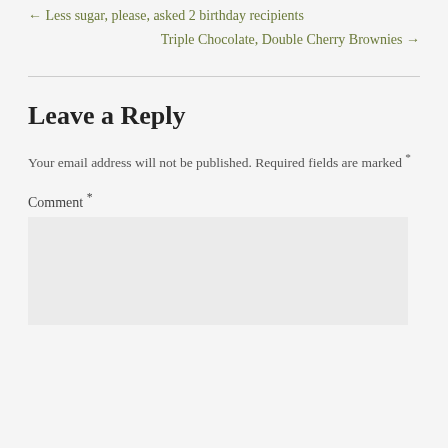← Less sugar, please, asked 2 birthday recipients
Triple Chocolate, Double Cherry Brownies →
Leave a Reply
Your email address will not be published. Required fields are marked *
Comment *